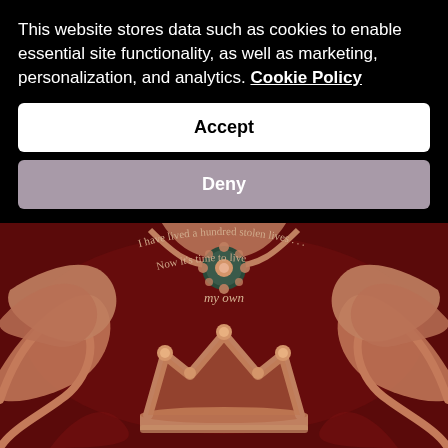This website stores data such as cookies to enable essential site functionality, as well as marketing, personalization, and analytics. Cookie Policy
Accept
Deny
[Figure (illustration): Decorative book cover illustration with a rose gold crown on a dark red background with ornate floral scrollwork. Text curved above reads: 'I have lived a hundred stolen lives... Now it's time to live my own']